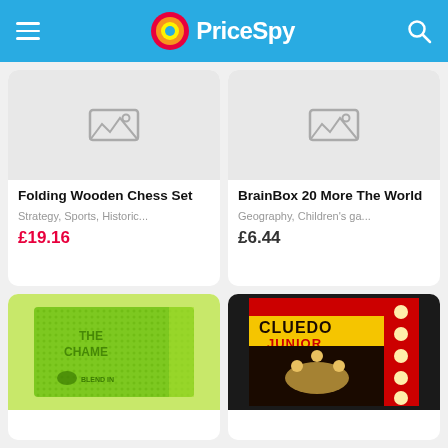PriceSpy
[Figure (screenshot): Folding Wooden Chess Set product card with placeholder image, price £19.16 in red, category Strategy, Sports, Historic...]
[Figure (screenshot): BrainBox 20 More The World product card with placeholder image, price £6.44, category Geography, Children's ga...]
[Figure (photo): Green spotted card game box 'The Chameleon / Blend In' game]
[Figure (photo): Cluedo Junior board game box]